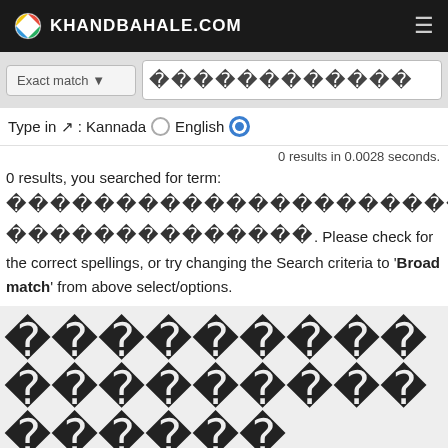KHANDBAHALE.COM
Exact match  [search input with Kannada characters]
Type in ↗ : Kannada ○ English ●
0 results in 0.0028 seconds.
0 results, you searched for term: [Kannada characters]. Please check for the correct spellings, or try changing the Search criteria to 'Broad match' from above select/options.
[Kannada character tiles] in Kannada
[bottom row of Kannada character tiles]